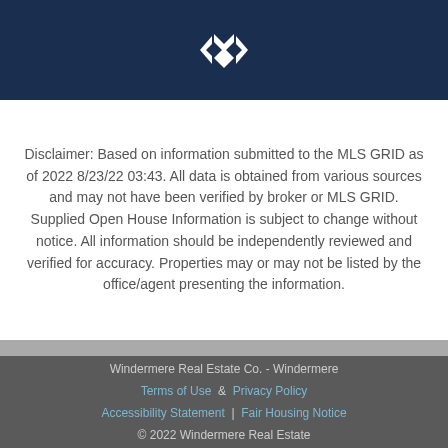Windermere Real Estate logo
Disclaimer: Based on information submitted to the MLS GRID as of 2022 8/23/22 03:43. All data is obtained from various sources and may not have been verified by broker or MLS GRID. Supplied Open House Information is subject to change without notice. All information should be independently reviewed and verified for accuracy. Properties may or may not be listed by the office/agent presenting the information.
Windermere Real Estate Co. - Windermere  Terms of Use  &  Privacy Policy  Accessibility Statement | Fair Housing Notice  © 2022 Windermere Real Estate